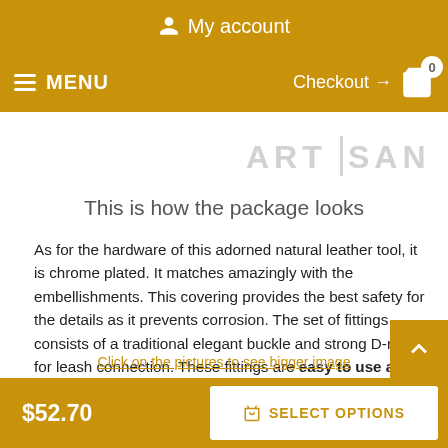My account
MENU  Checkout → 0
[Figure (logo): ARTISAN logo in gray letters with vertical bar]
This is how the package looks
As for the hardware of this adorned natural leather tool, it is chrome plated. It matches amazingly with the embellishments. This covering provides the best safety for the details as it prevents corrosion. The set of fittings consists of a traditional elegant buckle and strong D-ring for leash connection. These fittings are easy to use and reliable in service they provide. Add more zest to your dog's look, purchase this magnificent leather supply!
Click on the pictures to see bigger image
$52.70   SELECT OPTIONS